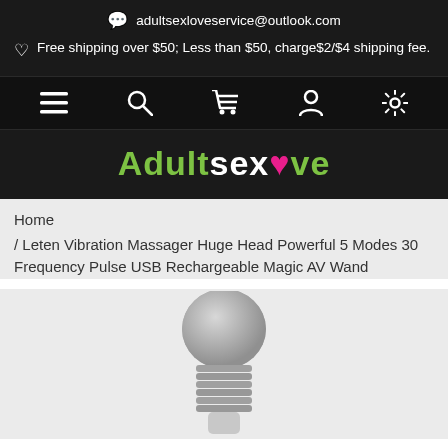adultsexloveservice@outlook.com
Free shipping over $50; Less than $50, charge$2/$4 shipping fee.
[Figure (screenshot): Navigation bar with menu, search, cart, account, and settings icons]
[Figure (logo): Adultsexlove logo in green and white with pink heart]
Home
/ Leten Vibration Massager Huge Head Powerful 5 Modes 30 Frequency Pulse USB Rechargeable Magic AV Wand
[Figure (photo): Product photo of a gray handheld massager wand with a large round head]